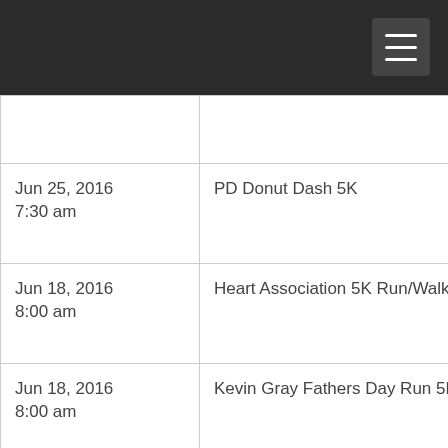| Date | Event |
| --- | --- |
|  |  |
| Jun 25, 2016
7:30 am | PD Donut Dash 5K |
| Jun 18, 2016
8:00 am | Heart Association 5K Run/Walk |
| Jun 18, 2016
8:00 am | Kevin Gray Fathers Day Run 5K |
| Jun 12, 2016
8:00 am | CASA SuperHero 5K Run/Walk |
| Jun 11, 2016 | Leawood Rotary 5K Run |